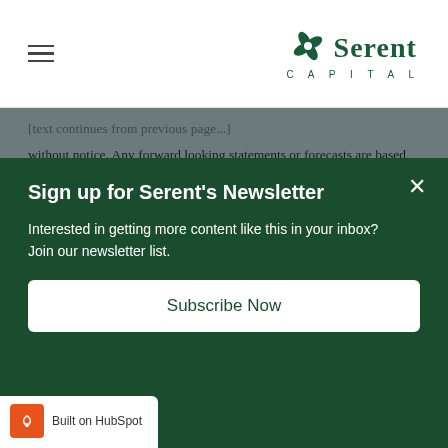Serent Capital
without notice. Any forward looking statements or forecasts are based on assumptions and actual results are expected to vary from any such statements or forecasts. While Serent has used reasonable efforts to obtain information from reliable sources, we make no representations or warranties as to the accuracy, reliability, or completeness of third party information presented herein. Past performance is not indicative of future results. There can be no guarantee that any investment strategy employed by Serent will be successful. A full list of portfolio holdings is available on Serent's website.
Sign up for Serent's Newsletter
Interested in getting more content like this in your inbox? Join our newsletter list.
Subscribe Now